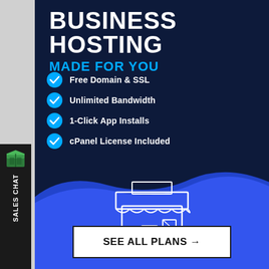[Figure (illustration): Sales chat sidebar button with green box icon and vertical SALES CHAT text on dark background]
BUSINESS HOSTING
MADE FOR YOU
Free Domain & SSL
Unlimited Bandwidth
1-Click App Installs
cPanel License Included
24/7/365 Technical Support
90-Day Money-Back Guarantee
[Figure (illustration): White line art icon of a storefront/shop building on dark navy-to-blue gradient background with wave shape]
SEE ALL PLANS →